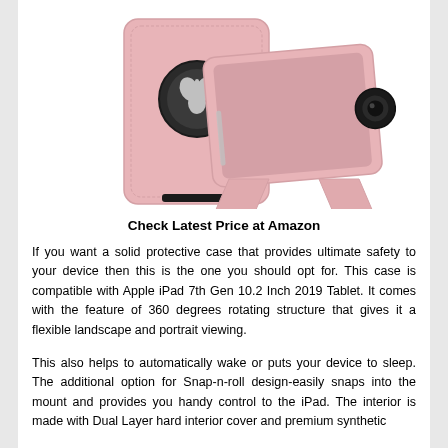[Figure (photo): Product photo of a rose gold/pink iPad case shown from two angles: the back showing a circular Apple logo cutout, and the front propped up in landscape mode with a 360-degree rotating stand.]
Check Latest Price at Amazon
If you want a solid protective case that provides ultimate safety to your device then this is the one you should opt for. This case is compatible with Apple iPad 7th Gen 10.2 Inch 2019 Tablet. It comes with the feature of 360 degrees rotating structure that gives it a flexible landscape and portrait viewing.
This also helps to automatically wake or puts your device to sleep. The additional option for Snap-n-roll design-easily snaps into the mount and provides you handy control to the iPad. The interior is made with Dual Layer hard interior cover and premium synthetic